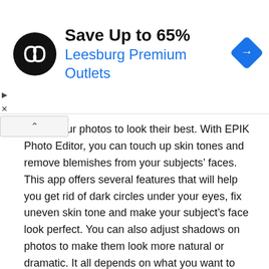[Figure (other): Advertisement banner: black circle logo with arrow icon, text 'Save Up to 65%' in bold black, 'Leesburg Premium Outlets' in blue, blue diamond arrow icon on right. Play and X controls on left edge.]
...nce your photos to look their best. With EPIK Photo Editor, you can touch up skin tones and remove blemishes from your subjects' faces. This app offers several features that will help you get rid of dark circles under your eyes, fix uneven skin tone and make your subject's face look perfect. You can also adjust shadows on photos to make them look more natural or dramatic. It all depends on what you want to achieve with your image.
Create trendy photo effects
EPIK Photo Editor APK can help you create trendy,